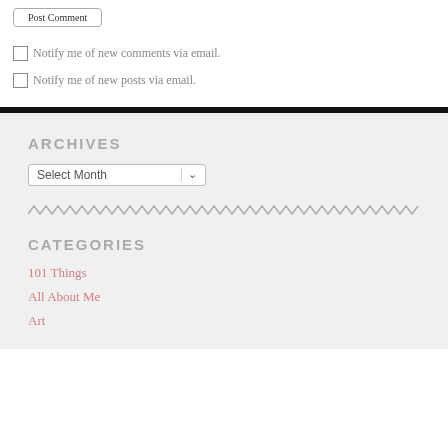Post Comment
Notify me of new comments via email.
Notify me of new posts via email.
ARCHIVES
Select Month
CATEGORIES
101 Things
All About Me
Art